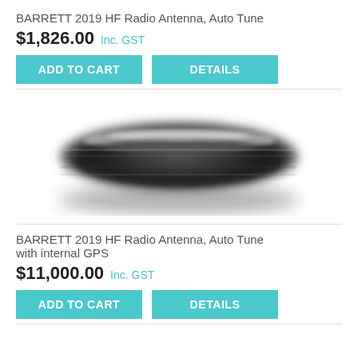BARRETT 2019 HF Radio Antenna, Auto Tune
$1,826.00 Inc. GST
ADD TO CART
DETAILS
[Figure (photo): Photo of a BARRETT 2019 HF Radio Antenna, Auto Tune with internal GPS — a disc-shaped antenna, shown in motion blur against white background]
BARRETT 2019 HF Radio Antenna, Auto Tune with internal GPS
$11,000.00 Inc. GST
ADD TO CART
DETAILS